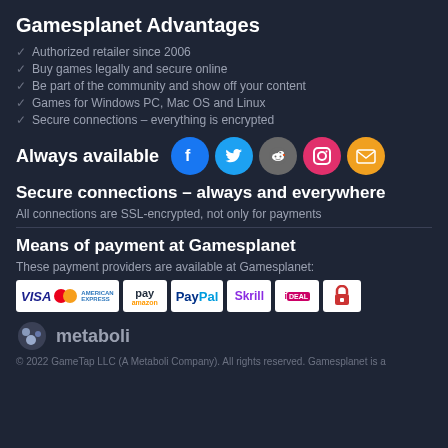Gamesplanet Advantages
Authorized retailer since 2006
Buy games legally and secure online
Be part of the community and show off your content
Games for Windows PC, Mac OS and Linux
Secure connections – everything is encrypted
Always available [social icons: Facebook, Twitter, Reddit, Instagram, Email]
Secure connections – always and everywhere
All connections are SSL-encrypted, not only for payments
Means of payment at Gamesplanet
These payment providers are available at Gamesplanet:
[Figure (infographic): Payment method logos: VISA, Mastercard, American Express, Amazon Pay, PayPal, Skrill, iDEAL, secure lock]
[Figure (logo): Metaboli logo with icon]
© 2022 GameTap LLC (A Metaboli Company). All rights reserved. Gamesplanet is a